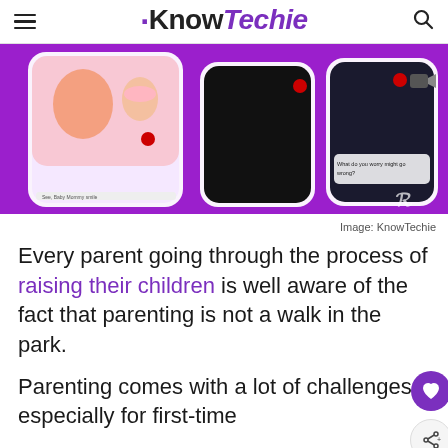KnowTechie
[Figure (screenshot): KnowTechie article hero image showing a parenting app interface with phones displaying a mother and baby on a purple background]
Image: KnowTechie
Every parent going through the process of raising their children is well aware of the fact that parenting is not a walk in the park.
Parenting comes with a lot of challenges, especially for first-time